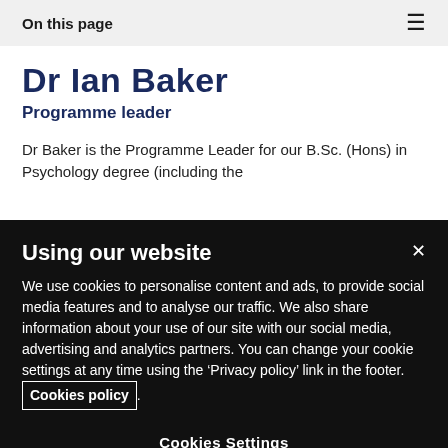On this page
Dr Ian Baker
Programme leader
Dr Baker is the Programme Leader for our B.Sc. (Hons) in Psychology degree (including the Foundation year) and Senior Lecturer in...
Using our website
We use cookies to personalise content and ads, to provide social media features and to analyse our traffic. We also share information about your use of our site with our social media, advertising and analytics partners. You can change your cookie settings at any time using the ‘Privacy policy’ link in the footer. Cookies policy.
Cookies Settings